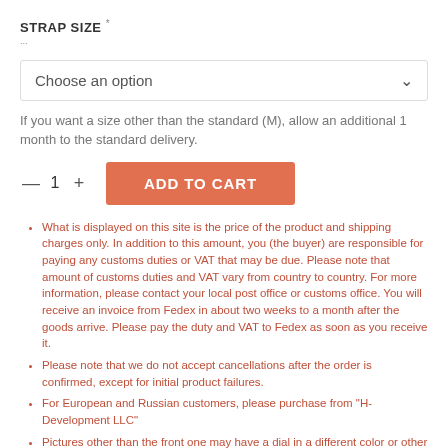STRAP SIZE *...
Choose an option
If you want a size other than the standard (M), allow an additional 1 month to the standard delivery.
— 1 + ADD TO CART
What is displayed on this site is the price of the product and shipping charges only. In addition to this amount, you (the buyer) are responsible for paying any customs duties or VAT that may be due. Please note that amount of customs duties and VAT vary from country to country. For more information, please contact your local post office or customs office. You will receive an invoice from Fedex in about two weeks to a month after the goods arrive. Please pay the duty and VAT to Fedex as soon as you receive it.
Please note that we do not accept cancellations after the order is confirmed, except for initial product failures.
For European and Russian customers, please purchase from "H-Development LLC"
Pictures other than the front one may have a dial in a different color or other parts of different specifications.